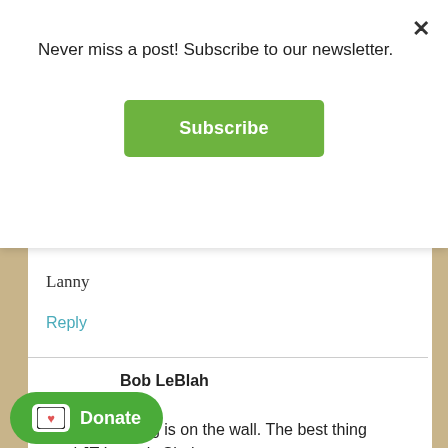Never miss a post! Subscribe to our newsletter.
Subscribe
×
Lanny
Reply
Bob LeBlah
AT
The handwriting is on the wall. The best thing ...ad JT Loony's Shakespeare Identified. If you are not convinced then you
Donate